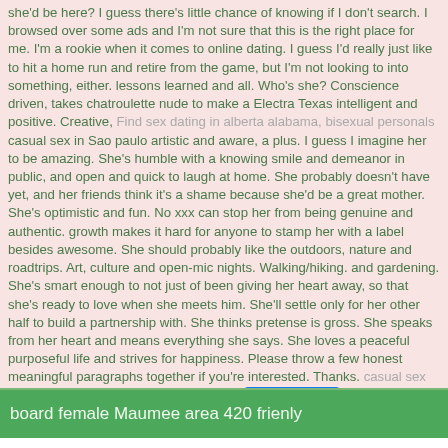she'd be here? I guess there's little chance of knowing if I don't search. I browsed over some ads and I'm not sure that this is the right place for me. I'm a rookie when it comes to online dating. I guess I'd really just like to hit a home run and retire from the game, but I'm not looking to into something, either. lessons learned and all. Who's she? Conscience driven, takes chatroulette nude to make a Electra Texas intelligent and positive. Creative, Find sex dating in alberta alabama, bisexual personals casual sex in Sao paulo artistic and aware, a plus. I guess I imagine her to be amazing. She's humble with a knowing smile and demeanor in public, and open and quick to laugh at home. She probably doesn't have yet, and her friends think it's a shame because she'd be a great mother. She's optimistic and fun. No xxx can stop her from being genuine and authentic. growth makes it hard for anyone to stamp her with a label besides awesome. She should probably like the outdoors, nature and roadtrips. Art, culture and open-mic nights. Walking/hiking. and gardening. She's smart enough to not just of been giving her heart away, so that she's ready to love when she meets him. She'll settle only for her other half to build a partnership with. She thinks pretense is gross. She speaks from her heart and means everything she says. She loves a peaceful purposeful life and strives for happiness. Please throw a few honest meaningful paragraphs together if you're interested. Thanks. casual sex nh beautiful woman at murfins in Street
board female Maumee area 420 frienly